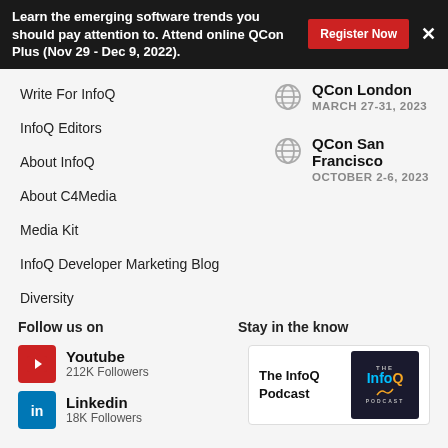Learn the emerging software trends you should pay attention to. Attend online QCon Plus (Nov 29 - Dec 9, 2022).
Write For InfoQ
InfoQ Editors
About InfoQ
About C4Media
Media Kit
InfoQ Developer Marketing Blog
Diversity
QCon London
MARCH 27-31, 2023
QCon San Francisco
OCTOBER 2-6, 2023
Follow us on
Stay in the know
Youtube
212K Followers
Linkedin
18K Followers
The InfoQ Podcast